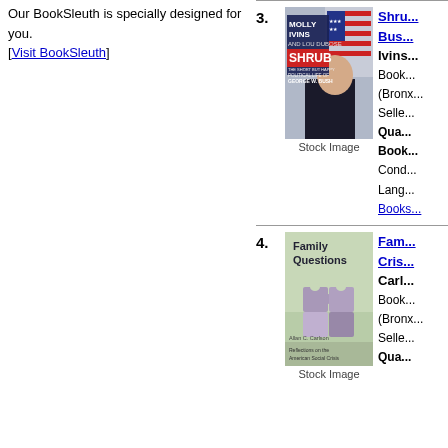Our BookSleuth is specially designed for you.
[Visit BookSleuth]
[Figure (illustration): Book cover of Shrub by Molly Ivins with Stock Image label]
Shrub... Bus...
Ivins...
Book... (Bronx...
Selle...
Qua...
Book...
Cond... Lang...
Books...
[Figure (illustration): Book cover of Family Questions: Reflections on the American Social Crisis by Allan C. Carlson with Stock Image label]
Fam... Cris...
Carl...
Book... (Bronx...
Selle...
Qua...